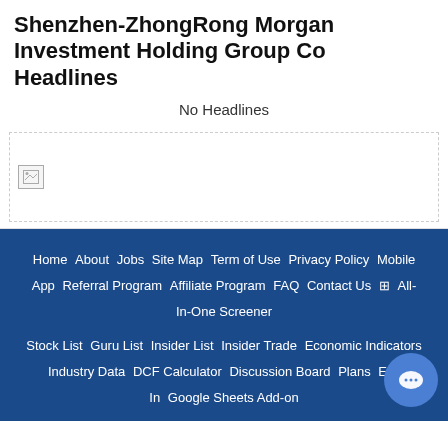Shenzhen-ZhongRong Morgan Investment Holding Group Co Headlines
No Headlines
[Figure (other): Broken/unloaded advertisement image placeholder with dashed border]
Home  About  Jobs  Site Map  Term of Use  Privacy Policy  Mobile App  Referral Program  Affiliate Program  FAQ  Contact Us  ⊞ All-In-One Screener

Stock List  Guru List  Insider List  Insider Trade  Economic Indicators  Industry Data  DCF Calculator  Discussion Board  Plans  Exc  In  Google Sheets Add-on